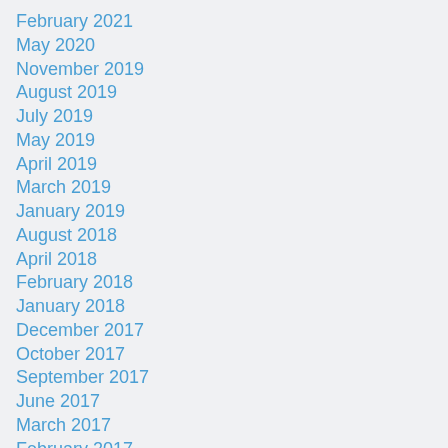February 2021
May 2020
November 2019
August 2019
July 2019
May 2019
April 2019
March 2019
January 2019
August 2018
April 2018
February 2018
January 2018
December 2017
October 2017
September 2017
June 2017
March 2017
February 2017
October 2016
September 2016
February 2016
October 2015